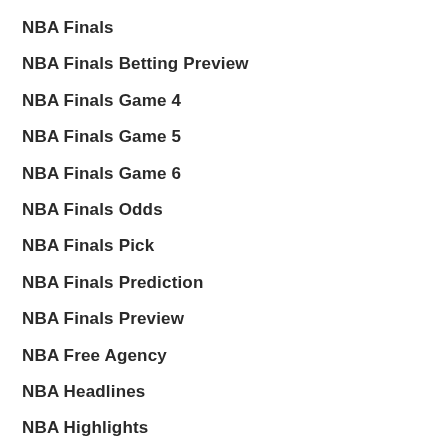NBA Finals
NBA Finals Betting Preview
NBA Finals Game 4
NBA Finals Game 5
NBA Finals Game 6
NBA Finals Odds
NBA Finals Pick
NBA Finals Prediction
NBA Finals Preview
NBA Free Agency
NBA Headlines
NBA Highlights
NBA News Wire